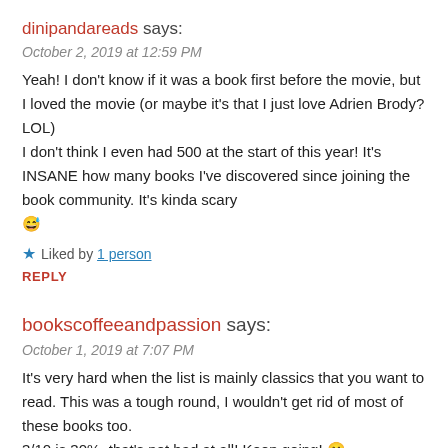dinipandareads says:
October 2, 2019 at 12:59 PM
Yeah! I don't know if it was a book first before the movie, but I loved the movie (or maybe it's that I just love Adrien Brody? LOL)
I don't think I even had 500 at the start of this year! It's INSANE how many books I've discovered since joining the book community. It's kinda scary 😅
★ Liked by 1 person
REPLY
bookscoffeeandpassion says:
October 1, 2019 at 7:07 PM
It's very hard when the list is mainly classics that you want to read. This was a tough round, I wouldn't get rid of most of these books too.
3/10 is 30%, that's not bad at all! Keep going! 🙂
★ Liked by 1 person
REPLY